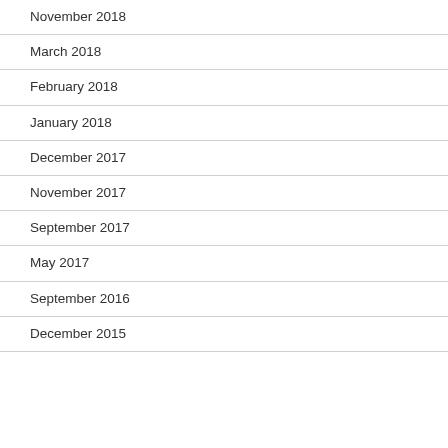November 2018
March 2018
February 2018
January 2018
December 2017
November 2017
September 2017
May 2017
September 2016
December 2015